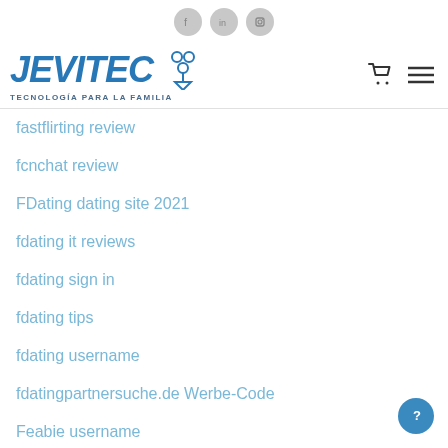Social icons: facebook, linkedin, instagram
[Figure (logo): JEVITEC logo with tagline TECNOLOGÍA PARA LA FAMILIA and people icon, plus cart and menu icons]
fastflirting review
fcnchat review
FDating dating site 2021
fdating it reviews
fdating sign in
fdating tips
fdating username
fdatingpartnersuche.de Werbe-Code
Feabie username